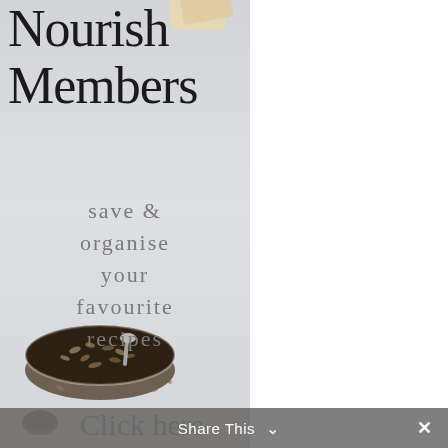[Figure (illustration): Promotional banner for 'Nourish Members' showing a handwritten script title, tagline text 'save & organise your favourite recipes', and a bowl of seeds/granola at the bottom on a light grey-blue background]
Nourish Members
save & organise your favourite recipes
Click here
Share This
[Figure (screenshot): Grey scroll-to-top button with upward pointing chevron arrow on the right side]